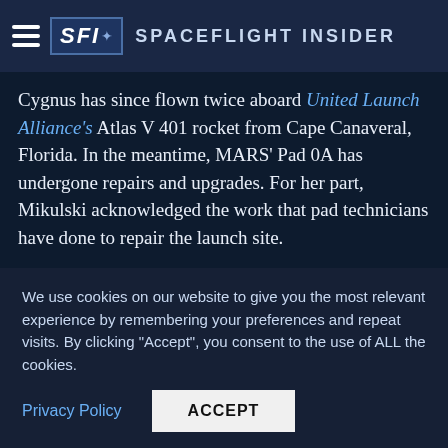Spaceflight Insider
Cygnus has since flown twice aboard United Launch Alliance's Atlas V 401 rocket from Cape Canaveral, Florida. In the meantime, MARS' Pad 0A has undergone repairs and upgrades. For her part, Mikulski acknowledged the work that pad technicians have done to repair the launch site.
“After the setback you went to work, you are ready to go and you actually have improved [the pad],” Mikulski said, “You have improved it in terms of
We use cookies on our website to give you the most relevant experience by remembering your preferences and repeat visits. By clicking “Accept”, you consent to the use of ALL the cookies.
Privacy Policy
ACCEPT